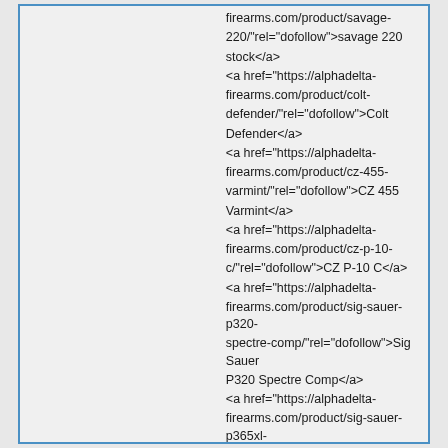firearms.com/product/savage-220/"rel="dofollow">savage 220 stock</a>
<a href="https://alphadelta-firearms.com/product/colt-defender/"rel="dofollow">Colt Defender</a>
<a href="https://alphadelta-firearms.com/product/cz-455-varmint/"rel="dofollow">CZ 455 Varmint</a>
<a href="https://alphadelta-firearms.com/product/cz-p-10-c/"rel="dofollow">CZ P-10 C</a>
<a href="https://alphadelta-firearms.com/product/sig-sauer-p320-spectre-comp/"rel="dofollow">Sig Sauer P320 Spectre Comp</a>
<a href="https://alphadelta-firearms.com/product/sig-sauer-p365xl-spectre-comp/"rel="dofollow">Sig Sauer P365XL Spectre Comp</a>
<a href="https://alphadelta-firearms.com/product/vr80-shotgun/"rel="dofollow">VR80 Shotgun</a>
<a href="https://alphadelta-firearms.com/product/taurus-856/"rel="dofollow">Taurus 856</a>
<a href="https://alphadelta-